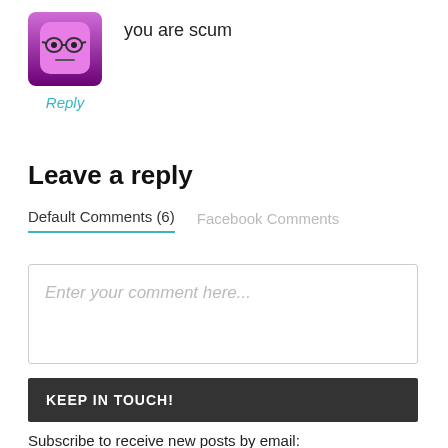[Figure (illustration): Pink square avatar with cartoon face wearing glasses and a neutral expression, purple gradient background]
you are scum
Reply
Leave a reply
Default Comments (6)   Facebook Comments
Enter your comment here...
KEEP IN TOUCH!
Subscribe to receive new posts by email: